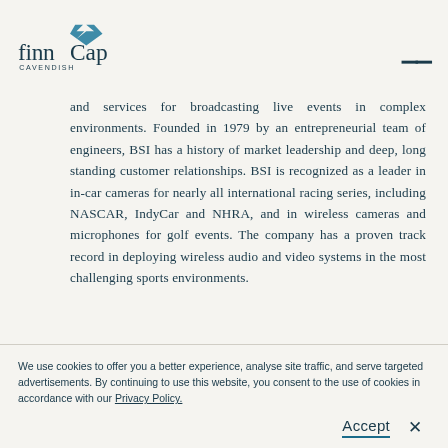finnCap CAVENDISH
and services for broadcasting live events in complex environments. Founded in 1979 by an entrepreneurial team of engineers, BSI has a history of market leadership and deep, long standing customer relationships. BSI is recognized as a leader in in-car cameras for nearly all international racing series, including NASCAR, IndyCar and NHRA, and in wireless cameras and microphones for golf events. The company has a proven track record in deploying wireless audio and video systems in the most challenging sports environments.
We use cookies to offer you a better experience, analyse site traffic, and serve targeted advertisements. By continuing to use this website, you consent to the use of cookies in accordance with our Privacy Policy.
Accept